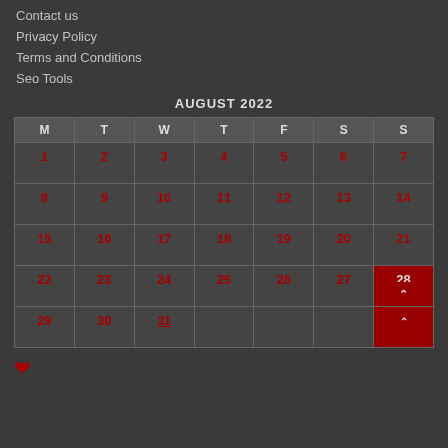Contact us
Privacy Policy
Terms and Conditions
Seo Tools
AUGUST 2022
| M | T | W | T | F | S | S |
| --- | --- | --- | --- | --- | --- | --- |
| 1 | 2 | 3 | 4 | 5 | 6 | 7 |
| 8 | 9 | 10 | 11 | 12 | 13 | 14 |
| 15 | 16 | 17 | 18 | 19 | 20 | 21 |
| 22 | 23 | 24 | 25 | 26 | 27 | 28 |
| 29 | 30 | 31 |  |  |  |  |